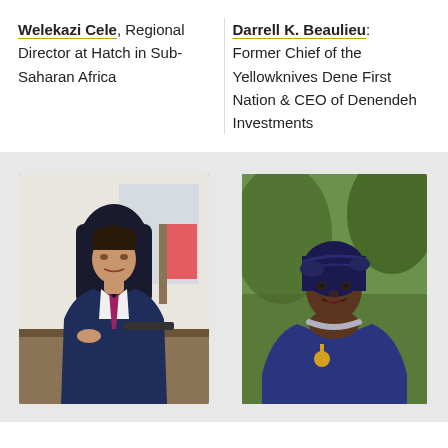Welekazi Cele, Regional Director at Hatch in Sub-Saharan Africa
Darrell K. Beaulieu: Former Chief of the Yellowknives Dene First Nation & CEO of Denendeh Investments
[Figure (photo): Professional headshot of a man in a dark navy suit with a magenta/pink tie, seated at a desk in an office environment with flags visible in the background.]
[Figure (photo): Photo of a woman wearing a dark blue traditional head wrap and blue patterned dress/outfit, with a medal/award visible, outdoors with trees in background.]